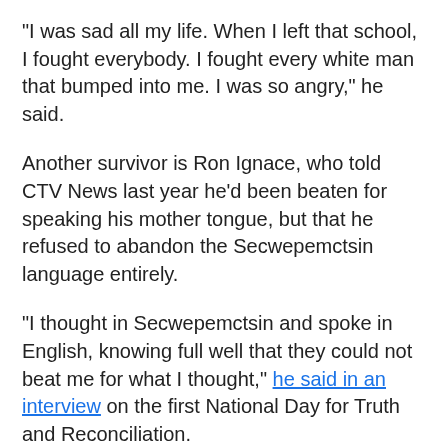"I was sad all my life. When I left that school, I fought everybody. I fought every white man that bumped into me. I was so angry," he said.
Another survivor is Ron Ignace, who told CTV News last year he'd been beaten for speaking his mother tongue, but that he refused to abandon the Secwepemctsin language entirely.
"I thought in Secwepemctsin and spoke in English, knowing full well that they could not beat me for what I thought," he said in an interview on the first National Day for Truth and Reconciliation.
He ran away during a leave on his 16th birthday, and said he's living proof that the school system failed its goal, described by the